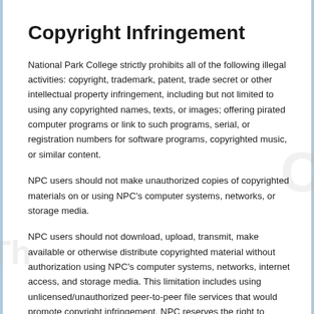Copyright Infringement
National Park College strictly prohibits all of the following illegal activities: copyright, trademark, patent, trade secret or other intellectual property infringement, including but not limited to using any copyrighted names, texts, or images; offering pirated computer programs or link to such programs, serial, or registration numbers for software programs, copyrighted music, or similar content.
NPC users should not make unauthorized copies of copyrighted materials on or using NPC's computer systems, networks, or storage media.
NPC users should not download, upload, transmit, make available or otherwise distribute copyrighted material without authorization using NPC's computer systems, networks, internet access, and storage media. This limitation includes using unlicensed/unauthorized peer-to-peer file services that would promote copyright infringement. NPC reserves the right to monitor its computer systems, networks, and storage media for compliance with this policy, at any time without notice, and with or without cause.
Additionally, NPC has the right to access, review, and monitor the use of